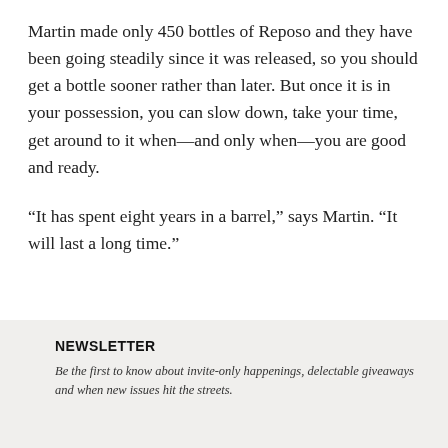Martin made only 450 bottles of Reposo and they have been going steadily since it was released, so you should get a bottle sooner rather than later. But once it is in your possession, you can slow down, take your time, get around to it when—and only when—you are good and ready.
“It has spent eight years in a barrel,” says Martin. “It will last a long time.”
NEWSLETTER
Be the first to know about invite-only happenings, delectable giveaways and when new issues hit the streets.